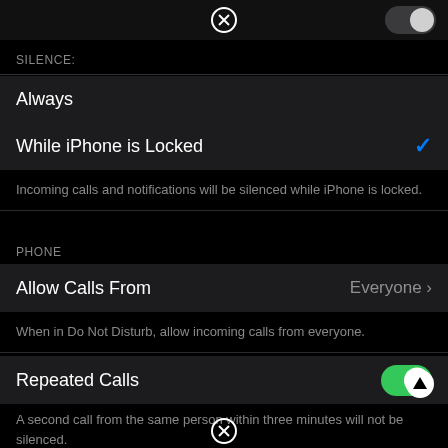[Figure (screenshot): iOS Do Not Disturb settings screen showing SILENCE options (Always, While iPhone is Locked with checkmark), PHONE options (Allow Calls From: Everyone, Repeated Calls toggle ON). Close buttons at top and bottom, up arrow at bottom right.]
SILENCE:
Always
While iPhone is Locked
Incoming calls and notifications will be silenced while iPhone is locked.
PHONE
Allow Calls From  Everyone
When in Do Not Disturb, allow incoming calls from everyone.
Repeated Calls
A second call from the same person within three minutes will not be silenced.